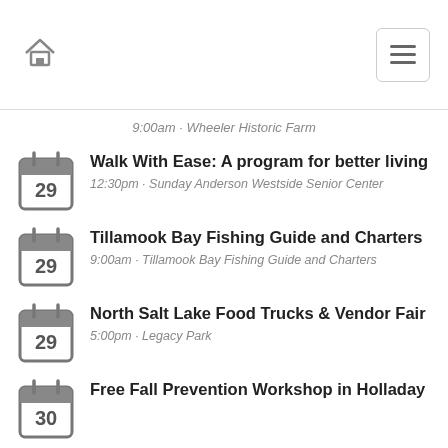Home | Menu
9:00am · Wheeler Historic Farm
Walk With Ease: A program for better living
12:30pm · Sunday Anderson Westside Senior Center
Tillamook Bay Fishing Guide and Charters
9:00am · Tillamook Bay Fishing Guide and Charters
North Salt Lake Food Trucks & Vendor Fair
5:00pm · Legacy Park
Free Fall Prevention Workshop in Holladay